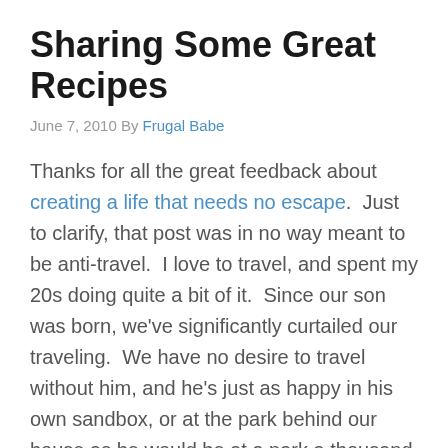Sharing Some Great Recipes
June 7, 2010 By Frugal Babe
Thanks for all the great feedback about creating a life that needs no escape.  Just to clarify, that post was in no way meant to be anti-travel.  I love to travel, and spent my 20s doing quite a bit of it.  Since our son was born, we've significantly curtailed our traveling.  We have no desire to travel without him, and he's just as happy in his own sandbox, or at the park behind our house as he would be at a park a thousand miles away.  And getting to the one behind our house is a lot less stressful!  There's